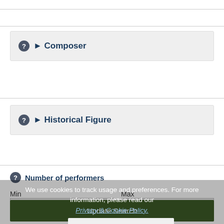Composer
Historical Figure
Number of performers
Min
Max
We use cookies to track usage and preferences. For more information, please read our Privacy & Cookie Policy.
Update Search
ACCEPT
Total audience figure
Min
Max